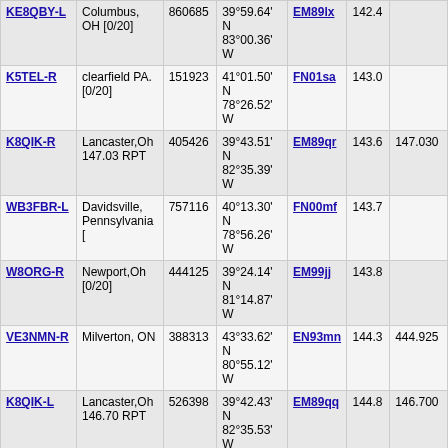| Callsign | Location | Node | Coordinates | Grid | Freq | Link Freq |
| --- | --- | --- | --- | --- | --- | --- |
| KE8QBY-L | Columbus, OH [0/20] | 860685 | 39°59.64' N 83°00.36' W | EM89lx | 142.4 |  |
| K5TEL-R | clearfield PA. [0/20] | 151923 | 41°01.50' N 78°26.52' W | FN01sa | 143.0 |  |
| K8QIK-R | Lancaster,Oh 147.03 RPT | 405426 | 39°43.51' N 82°35.39' W | EM89qr | 143.6 | 147.030 |
| WB3FBR-L | Davidsville, Pennsylvania [ | 757116 | 40°13.30' N 78°56.26' W | FN00mf | 143.7 |  |
| W8ORG-R | Newport,Oh [0/20] | 444125 | 39°24.14' N 81°14.87' W | EM99jj | 143.8 |  |
| VE3NMN-R | Milverton, ON | 388313 | 43°33.62' N 80°55.12' W | EN93mn | 144.3 | 444.925 |
| K8QIK-L | Lancaster,Oh 146.70 RPT | 526398 | 39°42.43' N 82°35.53' W | EM89qq | 144.8 | 146.700 |
| W8UM-R | Univ Michigan Ann Arbor | 301138 | 42°16.50' N 83°44.00' W | EN82dg | 145.2 | 145.230 |
| VE3ABZ-L | In Conference VE3GUK-L | 549404 | 43°33.65' N 81°41.76' W | EN93dn | 146.9 |  |
| AK3J-R | Somerset, PA K3SMT-R | 506066 | 40°01.47' N 79°02.26' W | FN00la | 148.6 | 443.250 |
| VE3ERC-L | Elmira, Ontario, Canada | 993792 | 43°35.42' N 80°33.48' W | EN93ro | 148.9 | 444.700 |
| VE3ERC-R | Elmira, Ontario, Canada | 674040 | 43°35.42' N 80°33.48' W | EN93ro | 148.9 | 147.390 |